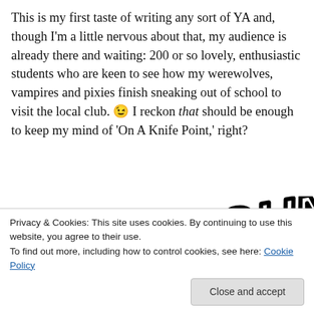This is my first taste of writing any sort of YA and, though I'm a little nervous about that, my audience is already there and waiting: 200 or so lovely, enthusiastic students who are keen to see how my werewolves, vampires and pixies finish sneaking out of school to visit the local club. 😉 I reckon that should be enough to keep my mind of 'On A Knife Point,' right?
[Figure (illustration): Handwritten signature reading 'O. Sandra Young' in large black brushstroke lettering]
Privacy & Cookies: This site uses cookies. By continuing to use this website, you agree to their use.
To find out more, including how to control cookies, see here: Cookie Policy
Close and accept